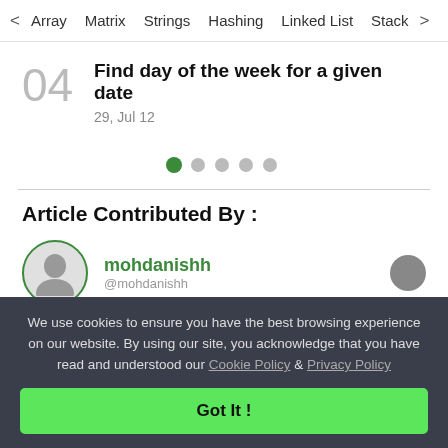< Array  Matrix  Strings  Hashing  Linked List  Stack >
04
Find day of the week for a given date
29, Jul 12
[Figure (other): Pagination dots: 6 circles, first one filled green, rest gray]
Article Contributed By :
mohdanishh
@mohdanishh
We use cookies to ensure you have the best browsing experience on our website. By using our site, you acknowledge that you have read and understood our Cookie Policy & Privacy Policy
Got It !